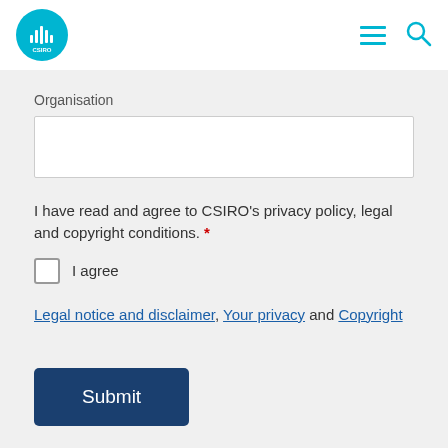CSIRO header with logo, hamburger menu, and search icon
Organisation
I have read and agree to CSIRO's privacy policy, legal and copyright conditions. *
I agree
Legal notice and disclaimer, Your privacy and Copyright
Submit